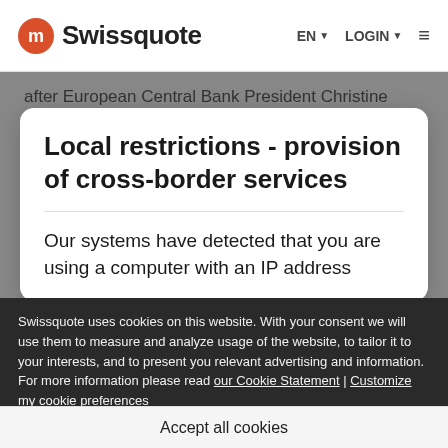Swissquote — EN LOGIN ☰
after European Central Bank President Christine
Local restrictions - provision of cross-border services
Our systems have detected that you are using a computer with an IP address
Swissquote uses cookies on this website. With your consent we will use them to measure and analyze usage of the website, to tailor it to your interests, and to present you relevant advertising and information. For more information please read our Cookie Statement | Customize my cookie preferences
Accept all cookies